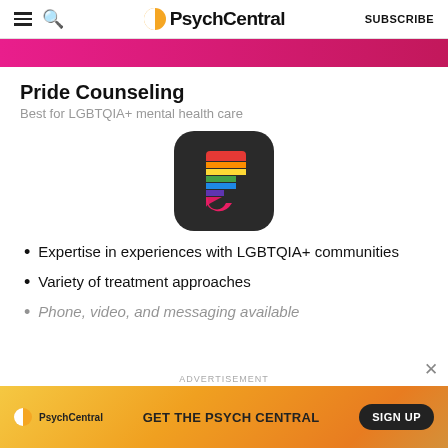PsychCentral — SUBSCRIBE
[Figure (illustration): Pink/magenta banner strip]
Pride Counseling
Best for LGBTQIA+ mental health care
[Figure (logo): Pride Counseling app icon — dark rounded square with rainbow-striped F letter logo]
Expertise in experiences with LGBTQIA+ communities
Variety of treatment approaches
Phone, video, and messaging available
[Figure (infographic): PsychCentral advertisement banner — GET THE PSYCH CENTRAL / SIGN UP button]